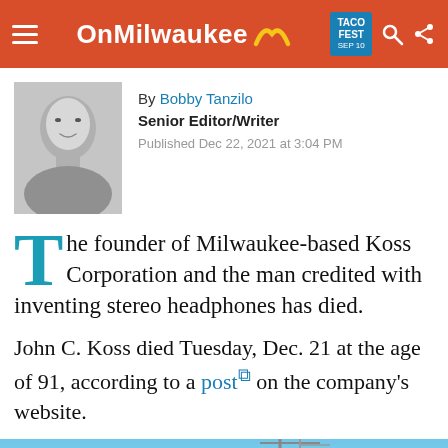OnMilwaukee
[Figure (photo): Black and white headshot photo of Bobby Tanzilo, a middle-aged man with short hair and a slight smile]
By Bobby Tanzilo
Senior Editor/Writer
Published Dec 22, 2021 at 3:04 PM
The founder of Milwaukee-based Koss Corporation and the man credited with inventing stereo headphones has died.
John C. Koss died Tuesday, Dec. 21 at the age of 91, according to a post on the company's website.
[Figure (photo): Partial view of a blue sky and what appears to be a building or structure at the bottom of the page]